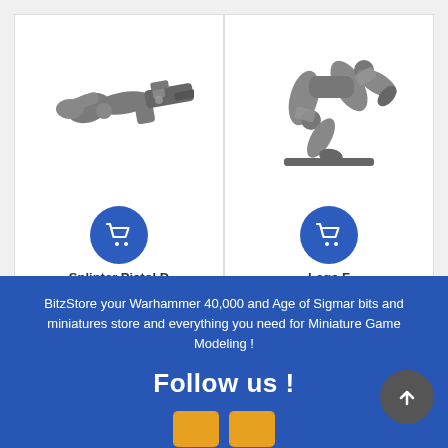[Figure (photo): Warhammer miniature bit: Splinter Pistol D - a grey plastic arm holding a sci-fi pistol weapon]
Splinter Pistol D
[Figure (photo): Warhammer miniature bit: Legs F - grey plastic running legs on a base]
Legs F
BitzStore your Warhammer 40,000 and Age of Sigmar bits and miniatures store and everything you need for Miniature Game Modeling !
Follow us !